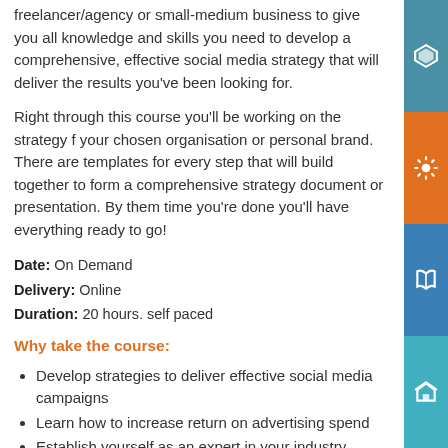freelancer/agency or small-medium business to give you all knowledge and skills you need to develop a comprehensive, effective social media strategy that will deliver the results you've been looking for.
Right through this course you'll be working on the strategy for your chosen organisation or personal brand. There are templates for every step that will build together to form a comprehensive strategy document or presentation. By the time you're done you'll have everything ready to go!
Date: On Demand
Delivery: Online
Duration: 20 hours. self paced
Why take the course:
Develop strategies to deliver effective social media campaigns
Learn how to increase return on advertising spend
Establish yourself as an expert in your industry